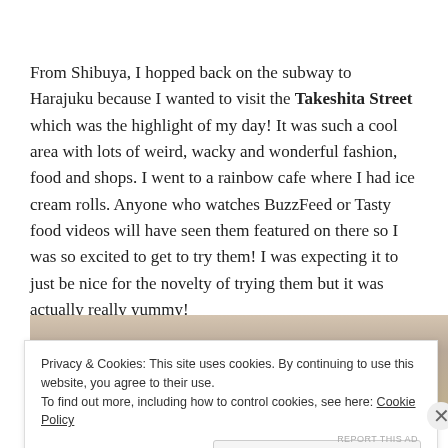From Shibuya, I hopped back on the subway to Harajuku because I wanted to visit the Takeshita Street which was the highlight of my day! It was such a cool area with lots of weird, wacky and wonderful fashion, food and shops. I went to a rainbow cafe where I had ice cream rolls. Anyone who watches BuzzFeed or Tasty food videos will have seen them featured on there so I was so excited to get to try them! I was expecting it to just be nice for the novelty of trying them but it was actually really yummy!
[Figure (photo): Partial photo visible behind cookie consent banner, appears to show food or hands]
Privacy & Cookies: This site uses cookies. By continuing to use this website, you agree to their use. To find out more, including how to control cookies, see here: Cookie Policy
Close and accept
REPORT THIS AD